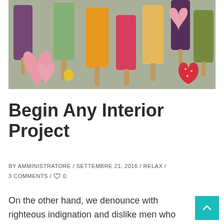[Figure (photo): Colorful assorted fruit popsicles/ice lollies and heart-shaped popsicles scattered together with fruits]
Begin Any Interior Project
BY AMMINISTRATORE / SETTEMBRE 21, 2016 / RELAX / 3 COMMENTS / ♡ 0
On the other hand, we denounce with righteous indignation and dislike men who are so beguiled and demoralized by the too charms of pleasure of the moment, so